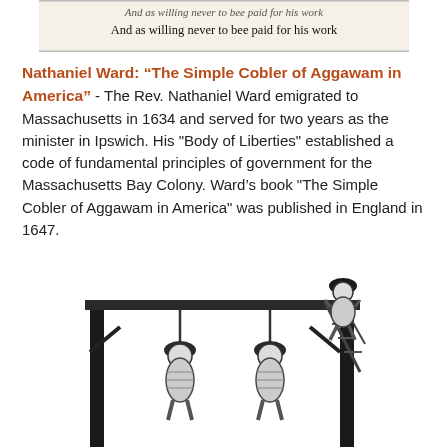[Figure (illustration): Cropped image of old manuscript text reading 'And as willing never to bee paid for his work']
Nathaniel Ward: “The Simple Cobler of Aggawam in America” - The Rev. Nathaniel Ward emigrated to Massachusetts in 1634 and served for two years as the minister in Ipswich. His "Body of Liberties" established a code of fundamental principles of government for the Massachusetts Bay Colony. Ward's book "The Simple Cobler of Aggawam in America" was published in England in 1647.
[Figure (illustration): Black and white woodcut illustration depicting a gallows scene with two figures hanging and a third figure climbing the structure.]